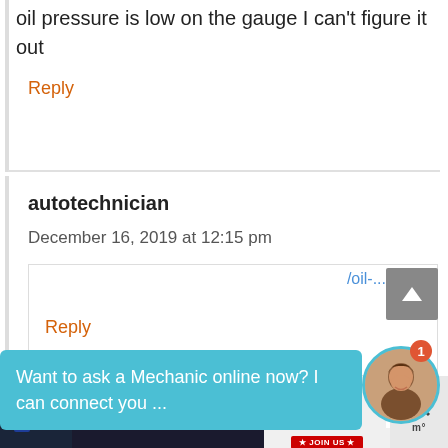oil pressure is low on the gauge I can't figure it out
Reply
autotechnician
December 16, 2019 at 12:15 pm
Reply
[Figure (other): Blue chat popup with text: Want to ask a Mechanic online now? I can connect you ... with a female avatar photo and notification badge showing 1]
[Figure (other): Advertisement banner: GO BEYOND SAYING THANK YOU - Operation Gratitude JOIN US]